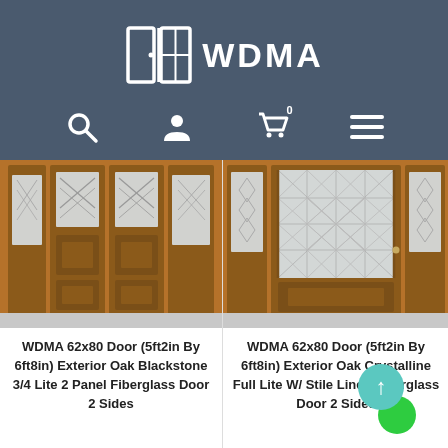WDMA
[Figure (photo): WDMA 62x80 Door (5ft2in By 6ft8in) Exterior Oak Blackstone 3/4 Lite 2 Panel Fiberglass Door 2 Sides - product image showing oak fiberglass door with glass panels and sidelights]
WDMA 62x80 Door (5ft2in By 6ft8in) Exterior Oak Blackstone 3/4 Lite 2 Panel Fiberglass Door 2 Sides
[Figure (photo): WDMA 62x80 Door (5ft2in By 6ft8in) Exterior Oak Crystalline Full Lite W/ Stile Lines Fiberglass Door 2 Sides - product image showing oak fiberglass door with full glass panel and sidelights]
WDMA 62x80 Door (5ft2in By 6ft8in) Exterior Oak Crystalline Full Lite W/ Stile Lines Fiberglass Door 2 Sides